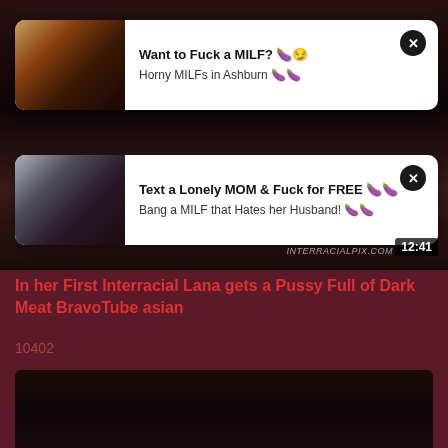[Figure (screenshot): Video player showing adult content with two advertisement overlay cards]
Want to Fuck a MILF? 🍆😏
Horny MILFs in Ashburn 🍆🍆
Text a Lonely MOM & Fuck for FREE 🍆🍆
Bang a MILF that Hates her Husband! 🍆🍆
In her First Interracial Lana gets a Pussy Full of Dark Meat BravoTube asian
10402
[Figure (photo): Thumbnail of video content]